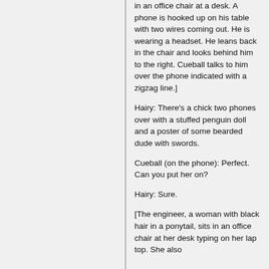in an office chair at a desk. A phone is hooked up on his table with two wires coming out. He is wearing a headset. He leans back in the chair and looks behind him to the right. Cueball talks to him over the phone indicated with a zigzag line.]
Hairy: There's a chick two phones over with a stuffed penguin doll and a poster of some bearded dude with swords.
Cueball (on the phone): Perfect. Can you put her on?
Hairy: Sure.
[The engineer, a woman with black hair in a ponytail, sits in an office chair at her desk typing on her lap top. She also